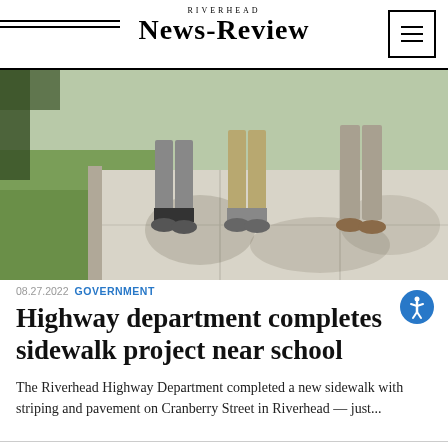RIVERHEAD NEWS-REVIEW
[Figure (photo): Three people standing on a newly completed concrete sidewalk next to a grassy area, viewed from waist down showing legs and feet on the bright pavement.]
08.27.2022 GOVERNMENT
Highway department completes sidewalk project near school
The Riverhead Highway Department completed a new sidewalk with striping and pavement on Cranberry Street in Riverhead — just...